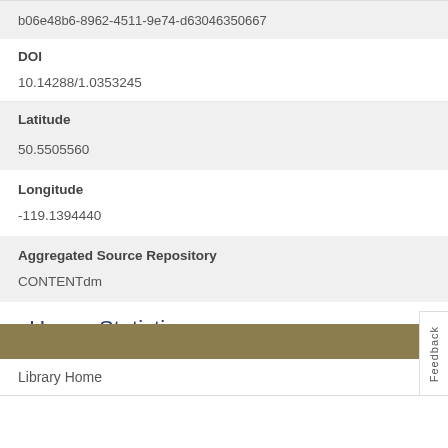b06e48b6-8962-4511-9e74-d63046350667
DOI
10.14288/1.0353245
Latitude
50.5505560
Longitude
-119.1394440
Aggregated Source Repository
CONTENTdm
> Usage Statistics
Library Home